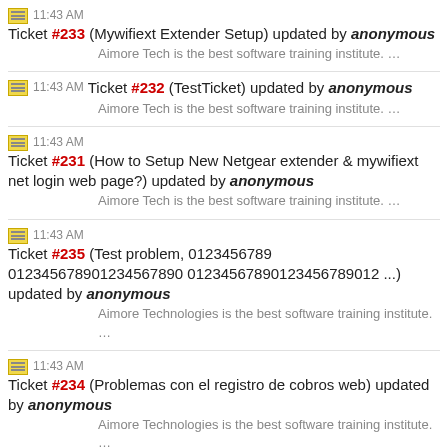11:43 AM Ticket #233 (Mywifiext Extender Setup) updated by anonymous
Aimore Tech is the best software training institute. …
11:43 AM Ticket #232 (TestTicket) updated by anonymous
Aimore Tech is the best software training institute. …
11:43 AM Ticket #231 (How to Setup New Netgear extender & mywifiext net login web page?) updated by anonymous
Aimore Tech is the best software training institute. …
11:43 AM Ticket #235 (Test problem, 0123456789 012345678901234567890 01234567890123456789012 ...) updated by anonymous
Aimore Technologies is the best software training institute. …
11:43 AM Ticket #234 (Problemas con el registro de cobros web) updated by anonymous
Aimore Technologies is the best software training institute. …